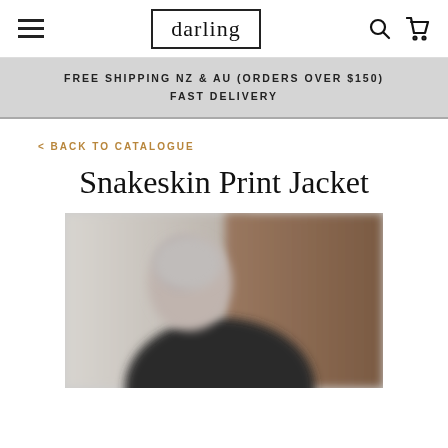darling
FREE SHIPPING NZ & AU (ORDERS OVER $150)
FAST DELIVERY
< BACK TO CATALOGUE
Snakeskin Print Jacket
[Figure (photo): A blurred photo of a woman with short grey hair wearing a dark top, photographed against a white and brown background]